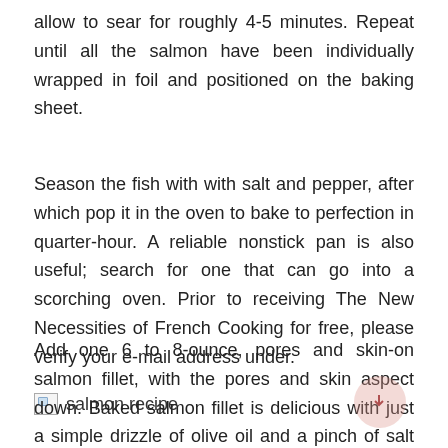allow to sear for roughly 4-5 minutes. Repeat until all the salmon have been individually wrapped in foil and positioned on the baking sheet.
Season the fish with with salt and pepper, after which pop it in the oven to bake to perfection in quarter-hour. A reliable nonstick pan is also useful; search for one that can go into a scorching oven. Prior to receiving The New Necessities of French Cooking for free, please verify your e-mail address under.
[Figure (illustration): Broken image placeholder with alt text 'salmon recipe']
Add one 6 to 8-ounce, pores and skin-on salmon fillet, with the pores and skin aspect down. Baked salmon fillet is delicious with just a simple drizzle of olive oil and a pinch of salt and pepper. Consider serving half a big steak-per...